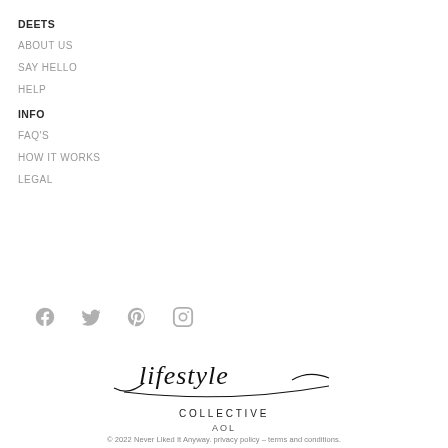DEETS
ABOUT US
SAY HELLO
HELP
INFO
FAQ'S
HOW IT WORKS
LEGAL
[Figure (other): Social media icons: Facebook, Twitter, Pinterest, Instagram]
[Figure (logo): Lifestyle Collective AOL logo with cursive script lifestyle text and underline swash, COLLECTIVE in caps below, AOL below that]
© 2022 Never Liked It Anyway. privacy policy – terms and conditions.